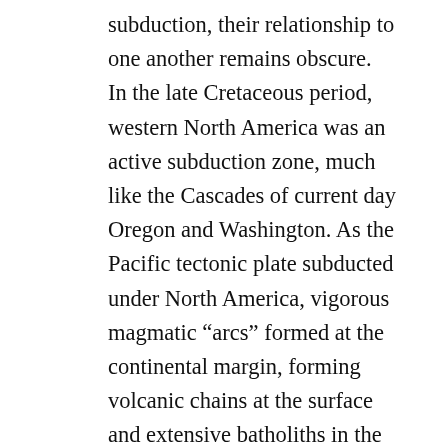subduction, their relationship to one another remains obscure. In the late Cretaceous period, western North America was an active subduction zone, much like the Cascades of current day Oregon and Washington. As the Pacific tectonic plate subducted under North America, vigorous magmatic “arcs” formed at the continental margin, forming volcanic chains at the surface and extensive batholiths in the subsurface. Those batholiths are exposed in California today as the Sierra Nevada and Peninsular Ranges. This magmatism was triggered as dense oceanic crust of the Pacific plated slid down into the mantle, which caused increasing pressure and temperature drive growth of new minerals in